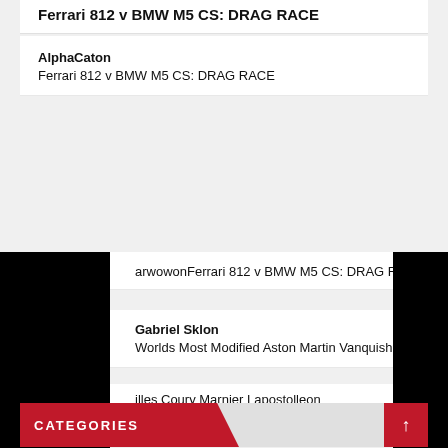Ferrari 812 v BMW M5 CS: DRAG RACE
AlphaCaton
Ferrari 812 v BMW M5 CS: DRAG RACE
arwowonFerrari 812 v BMW M5 CS: DRAG RAC
Gabriel Sklon
Worlds Most Modified Aston Martin Vanquish
illes Coury Marnier Lapostolleon
Worlds Most Modified Aston Martin Vanquish
CATEGORIES